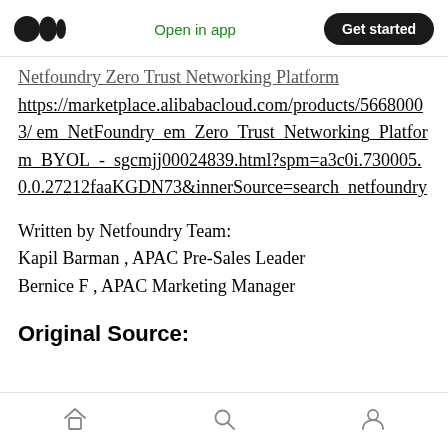Open in app | Get started
Netfoundry Zero Trust Networking Platform https://marketplace.alibabacloud.com/products/56680003/ em_NetFoundry_em_Zero_Trust_Networking_Platform_BYOL_-_sgcmjj00024839.html?spm=a3c0i.730005.0.0.27212faaKGDN73&innerSource=search_netfoundry
Written by Netfoundry Team:
Kapil Barman , APAC Pre-Sales Leader
Bernice F , APAC Marketing Manager
Original Source:
Home | Search | Profile